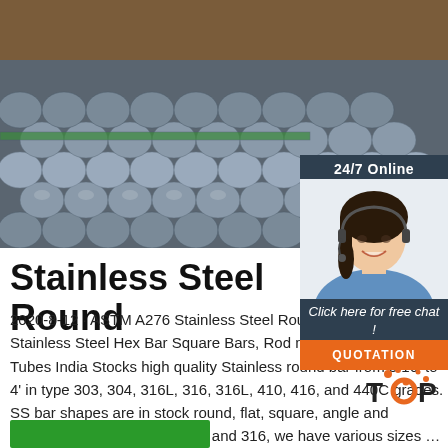[Figure (photo): Stainless steel round bars/rods stacked together, viewed from the ends showing circular cross-sections, with brown earthy background visible at top.]
[Figure (photo): Customer service agent woman with headset smiling, with 24/7 Online chat widget overlay including orange QUOTATION button.]
Stainless Steel Round
2020-8-12 · ASTM A276 Stainless Steel Round Bar ASTM A479 Stainless Steel Hex Bar Square Bars, Rod manufacturer in India Tubes India Stocks high quality Stainless round bar from 3/16' to 4' in type 303, 304, 316L, 316, 316L, 410, 416, and 440C grades. SS bar shapes are in stock round, flat, square, angle and hexagonal in grades 303, 304 and 316, we have various sizes …
[Figure (logo): TOP logo with orange dots]